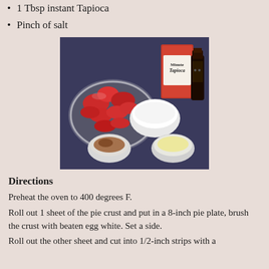1 Tbsp instant Tapioca
Pinch of salt
[Figure (photo): Ingredients laid out on a table: a glass bowl full of sliced strawberries, a box of Minute Tapioca, a white bowl with sugar, a small dark bottle of vanilla extract, a small bowl with cinnamon and salt, and a small bowl with egg white or butter.]
Directions
Preheat the oven to 400 degrees F.
Roll out 1 sheet of the pie crust and put in a 8-inch pie plate, brush the crust with beaten egg white. Set a side.
Roll out the other sheet and cut into 1/2-inch strips with a